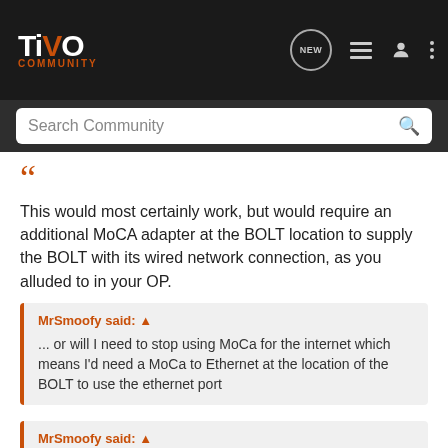TiVo Community
Search Community
This would most certainly work, but would require an additional MoCA adapter at the BOLT location to supply the BOLT with its wired network connection, as you alluded to in your OP.
MrSmoofy said: ↑
... or will I need to stop using MoCa for the internet which means I'd need a MoCa to Ethernet at the location of the BOLT to use the ethernet port
MrSmoofy said: ↑
As a follow up the diplexer would it allow the the Cable/MoCao and the antenna to be hooked up to the single coax on the Bolt even though the OTA and Cable use the same frequencies?